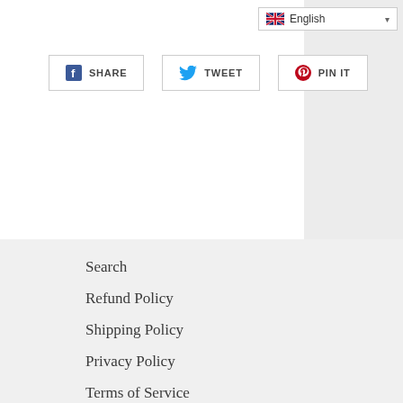English (language selector dropdown)
SHARE  TWEET  PIN IT (social share buttons)
Search
Refund Policy
Shipping Policy
Privacy Policy
Terms of Service